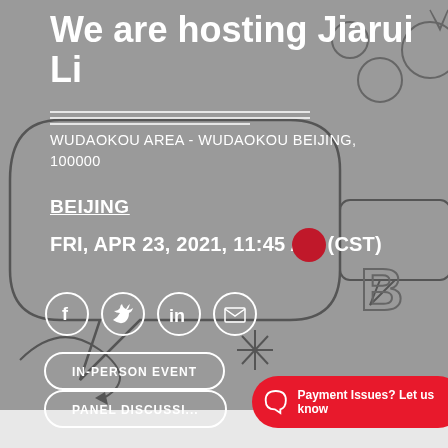We are hosting Jiarui Li
WUDAOKOU AREA - WUDAOKOU BEIJING, 100000
BEIJING
FRI, APR 23, 2021, 11:45 AM (CST)
[Figure (infographic): Social media share icons: Facebook, Twitter, LinkedIn, Email — white circle outlines on grey background]
IN-PERSON EVENT
PANEL DISCUSSI...
Payment Issues? Let us know